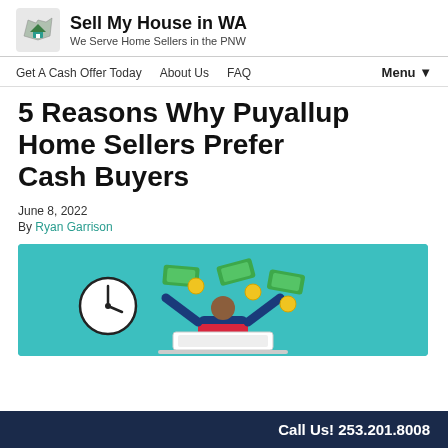Sell My House in WA — We Serve Home Sellers in the PNW
5 Reasons Why Puyallup Home Sellers Prefer Cash Buyers
June 8, 2022
By Ryan Garrison
[Figure (illustration): Illustration of a person with arms raised in front of a laptop, surrounded by floating money bills and coins, with a clock icon on the left, on a teal background.]
Call Us! 253.201.8008